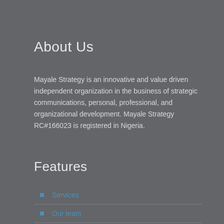About Us
Mayale Strategy is an innovative and value driven independent organization in the business of strategic communications, personal, professional, and organizational development. Mayale Strategy RC#166023 is registered in Nigeria.
Features
Services
Our team
Membership